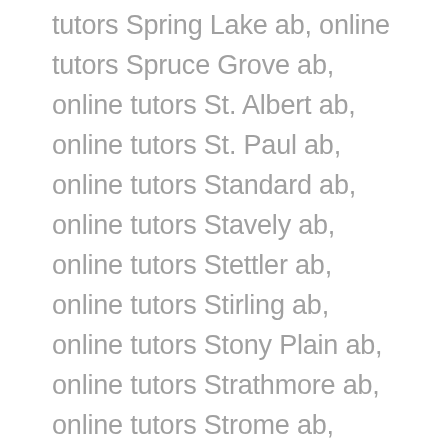tutors Spring Lake ab, online tutors Spruce Grove ab, online tutors St. Albert ab, online tutors St. Paul ab, online tutors Standard ab, online tutors Stavely ab, online tutors Stettler ab, online tutors Stirling ab, online tutors Stony Plain ab, online tutors Strathmore ab, online tutors Strome ab, online tutors Sunbreaker Cove ab, online tutors Sundance Breach ab, online tutors Sundre ab, online tutors Sunrise Beach ab, online tutors Sunset Point ab, online tutors Swan Hills ab, online tutors Sylvan Lake ab, online tutors Sylvan Lake ab, online tutors Taber ab, online tutors Thorhild ab, online tutors Thorsby ab, online tutors Three Hills ab, online tutors Tilley ab, online tutors Tofield ab, online tutors Trochu ab, online tutors Turner Valley ab, online tutors Two Hills ab, online tutors Val